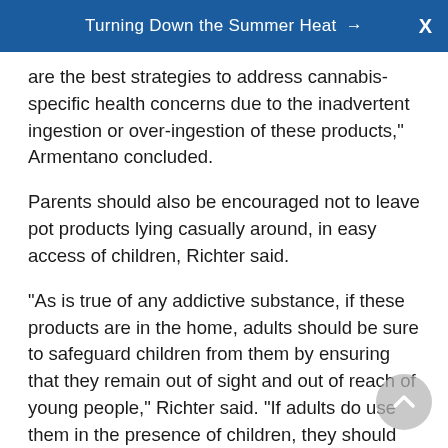Turning Down the Summer Heat →
are the best strategies to address cannabis-specific health concerns due to the inadvertent ingestion or over-ingestion of these products," Armentano concluded.
Parents should also be encouraged not to leave pot products lying casually around, in easy access of children, Richter said.
"As is true of any addictive substance, if these products are in the home, adults should be sure to safeguard children from them by ensuring that they remain out of sight and out of reach of young people," Richter said. "If adults do use them in the presence of children, they should be very careful to explain that they are dangerous for children to touch or ingest and should refrain from conveying in any way that the products are